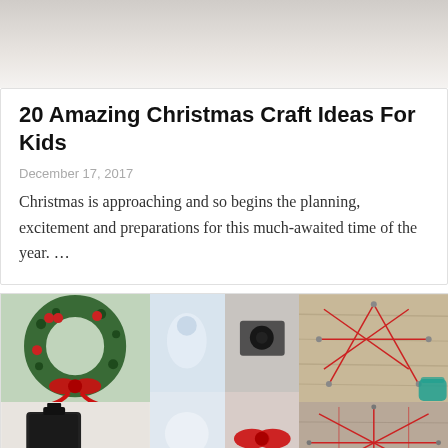[Figure (photo): Top portion of an image, partially cropped, appears to be a craft or food item on a light background]
20 Amazing Christmas Craft Ideas For Kids
December 17, 2017
Christmas is approaching and so begins the planning, excitement and preparations for this much-awaited time of the year. …
[Figure (photo): Collage of Christmas craft photos: wreath with red bow, string art on wood, crafting steps, and more]